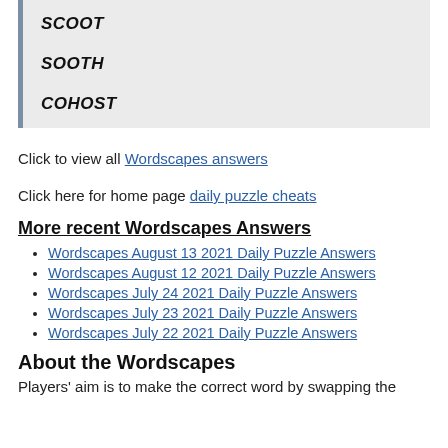SCOOT
SOOTH
COHOST
Click to view all Wordscapes answers
Click here for home page daily puzzle cheats
More recent Wordscapes Answers
Wordscapes August 13 2021 Daily Puzzle Answers
Wordscapes August 12 2021 Daily Puzzle Answers
Wordscapes July 24 2021 Daily Puzzle Answers
Wordscapes July 23 2021 Daily Puzzle Answers
Wordscapes July 22 2021 Daily Puzzle Answers
About the Wordscapes
Players' aim is to make the correct word by swapping the